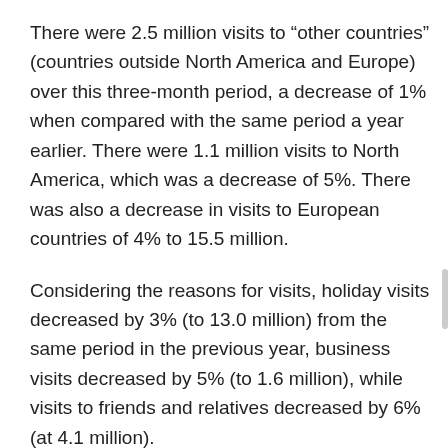There were 2.5 million visits to “other countries” (countries outside North America and Europe) over this three-month period, a decrease of 1% when compared with the same period a year earlier. There were 1.1 million visits to North America, which was a decrease of 5%. There was also a decrease in visits to European countries of 4% to 15.5 million.
Considering the reasons for visits, holiday visits decreased by 3% (to 13.0 million) from the same period in the previous year, business visits decreased by 5% (to 1.6 million), while visits to friends and relatives decreased by 6% (at 4.1 million).